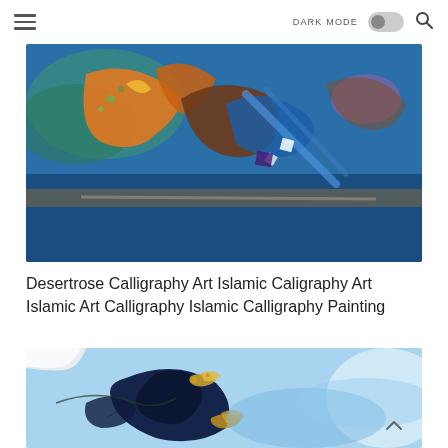DARK MODE [toggle] [search]
[Figure (photo): Islamic calligraphy art painting with colorful Arabic script on a blue textured background with orange, brown and white lettering]
Desertrose Calligraphy Art Islamic Caligraphy Art Islamic Art Calligraphy Islamic Calligraphy Painting
[Figure (photo): Abstract blue ink art with dark navy and gold fleck formations on a light blue background, resembling flowing water or marble texture]